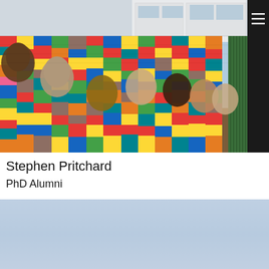[Figure (photo): A colorful community mural painted on a wall featuring multiple diverse faces/portraits with bright multi-colored kente-cloth-style striped patterns in red, blue, yellow, green, orange, brown, cyan, and black. The mural shows people of various ethnicities standing together. In the background, white modular buildings and a green corrugated metal wall are visible.]
Stephen Pritchard
PhD Alumni
[Figure (photo): A light blue sky photograph, partially cropped, showing a pale blue sky with no clouds.]